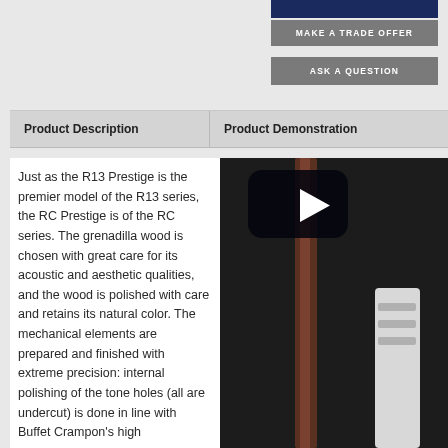[Figure (other): Dark navy blue button bar at top right]
MAKE A TRADE OFFER
ASK A QUESTION
Product Description
Product Demonstration
Just as the R13 Prestige is the premier model of the R13 series, the RC Prestige is of the RC series. The grenadilla wood is chosen with great care for its acoustic and aesthetic qualities, and the wood is polished with care and retains its natural color. The mechanical elements are prepared and finished with extreme precision: internal polishing of the tone holes (all are undercut) is done in line with Buffet Crampon's high…
[Figure (photo): Video thumbnail showing a clarinet with a play button overlay, product demonstration video]